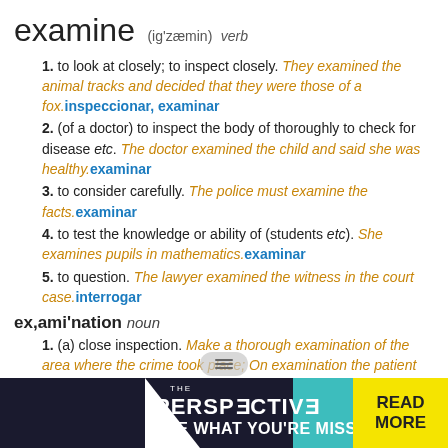examine   (ig'zæmin) verb
1. to look at closely; to inspect closely. They examined the animal tracks and decided that they were those of a fox. inspeccionar, examinar
2. (of a doctor) to inspect the body of thoroughly to check for disease etc. The doctor examined the child and said she was healthy. examinar
3. to consider carefully. The police must examine the facts. examinar
4. to test the knowledge or ability of (students etc). She examines pupils in mathematics. examinar
5. to question. The lawyer examined the witness in the court case. interrogar
ex,ami'nation noun
1. (a) close inspection. Make a thorough examination of the area where the crime took place; On examination the patient was discovered to have appendicitis. inspección, examen
2. (also ex'am) a test of knowledge or ability. school examinations; She is to take a French/dancing exam; (also adjective) examination/exam papers; He failed/passed the English exam. examen
3. (a) formal questioning (eg of a witness). interrogatorio
[Figure (screenshot): Advertisement banner: dark navy background with PERSPECTIVE branding, teal accent, 'SEE WHAT YOU'RE MISSING' tagline, yellow READ MORE button]